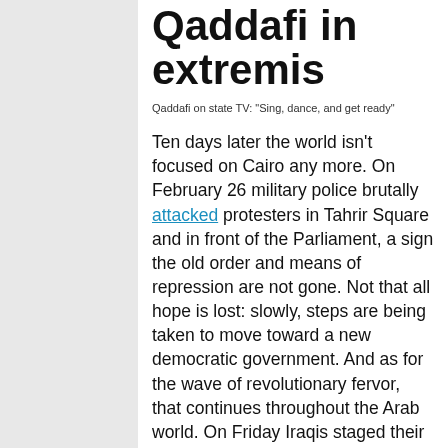Qaddafi in extremis
Qaddafi on state TV: "Sing, dance, and get ready"
Ten days later the world isn't focused on Cairo any more. On February 26 military police brutally attacked protesters in Tahrir Square and in front of the Parliament, a sign the old order and means of repression are not gone. Not that all hope is lost: slowly, steps are being taken to move toward a new democratic government. And as for the wave of revolutionary fervor, that continues throughout the Arab world. On Friday Iraqis staged their own "Day of Rage" and the biggest oil refinery was shut down. Additional tribal leaders joined the opposition in Yemen and it's looking more and more as if Ali Abdullah Saleh of Yemen will have to step down, not wait till 2013, his Mubarak-like initial offer. Revolt is